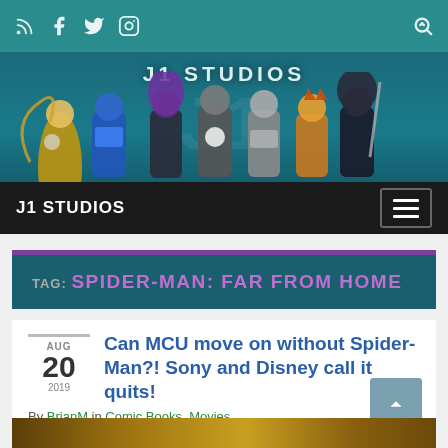J1 STUDIOS — social icons: RSS, Facebook, Twitter, Instagram, Search
[Figure (illustration): J1 Studios banner with animated superhero characters on teal background]
J1 STUDIOS navigation bar with hamburger menu
TAG: SPIDER-MAN: FAR FROM HOME
Can MCU move on without Spider-Man?! Sony and Disney call it quits!
By BrianM in Comic Books, Movies
[Figure (photo): Bottom image strip showing movie scene]